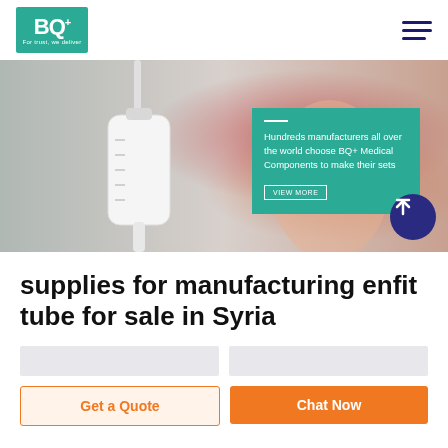BQ+ Medical – For trust, we deliver
[Figure (photo): Close-up photo of a white medical drip chamber/IV component hanging, with blurred red/orange background]
Hundreds manufacturers all over the world choose BQ+ Medical Components to make their sets
VIEW MORE
supplies for manufacturing enfit tube for sale in Syria
Get a Quote
Chat Now